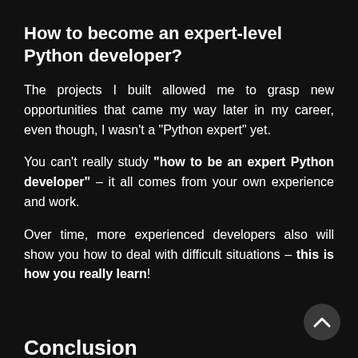How to become an expert-level Python developer?
The projects I built allowed me to grasp new opportunities that came my way later in my career, even though, I wasn't a “Python expert” yet.
You can’t really study “how to be an expert Python developer” – it all comes from your own experience and work.
Over time, more experienced developers also will show you how to deal with difficult situations – this is how you really learn!
Conclusion